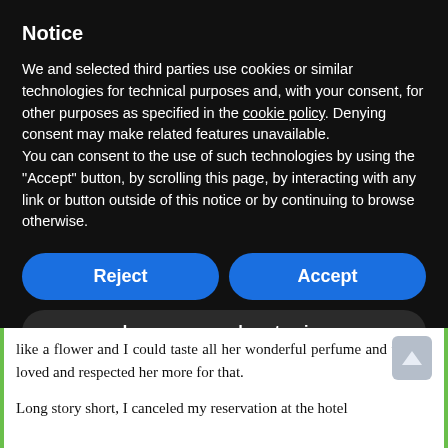Notice
We and selected third parties use cookies or similar technologies for technical purposes and, with your consent, for other purposes as specified in the cookie policy. Denying consent may make related features unavailable.
You can consent to the use of such technologies by using the "Accept" button, by scrolling this page, by interacting with any link or button outside of this notice or by continuing to browse otherwise.
Reject
Accept
Learn more and customize
like a flower and I could taste all her wonderful perfume and taste. I loved and respected her more for that.

Long story short, I canceled my reservation at the hotel